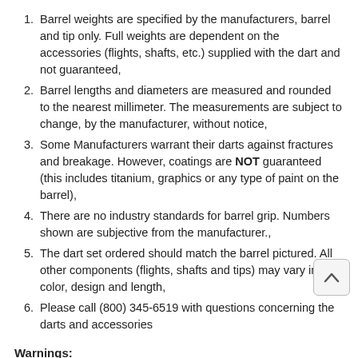Barrel weights are specified by the manufacturers, barrel and tip only. Full weights are dependent on the accessories (flights, shafts, etc.) supplied with the dart and not guaranteed,
Barrel lengths and diameters are measured and rounded to the nearest millimeter. The measurements are subject to change, by the manufacturer, without notice,
Some Manufacturers warrant their darts against fractures and breakage. However, coatings are NOT guaranteed (this includes titanium, graphics or any type of paint on the barrel),
There are no industry standards for barrel grip. Numbers shown are subjective from the manufacturer.,
The dart set ordered should match the barrel pictured. All other components (flights, shafts and tips) may vary in color, design and length,
Please call (800) 345-6519 with questions concerning the darts and accessories
Warnings:
Proposition 65: This product may expose you to chemicals known to the state of California to...